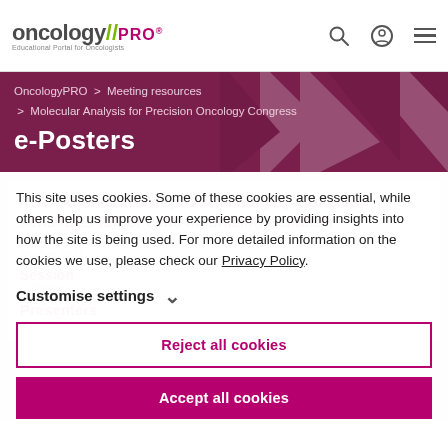oncology//PRO® — Educational Portal for Oncologists
OncologyPRO > Meeting resources > Molecular Analysis for Precision Oncology Congress
e-Posters
41P - Attenuation of p53 signaling by CDK8/19 sensitizes tumor cells to ionizing radiation
Date
06 Oct 2021
Session
e-Posters
Presenters
Oleg Kuchur
This site uses cookies. Some of these cookies are essential, while others help us improve your experience by providing insights into how the site is being used. For more detailed information on the cookies we use, please check our Privacy Policy.
Customise settings
Reject all cookies
Accept all cookies